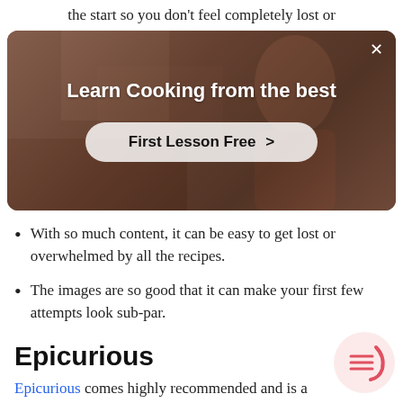the start so you don't feel completely lost or
[Figure (screenshot): Advertisement overlay with dark brownish background showing a person cooking. Title reads 'Learn Cooking from the best' with a 'First Lesson Free >' button and an X close button.]
With so much content, it can be easy to get lost or overwhelmed by all the recipes.
The images are so good that it can make your first few attempts look sub-par.
Epicurious
Epicurious comes highly recommended and is a